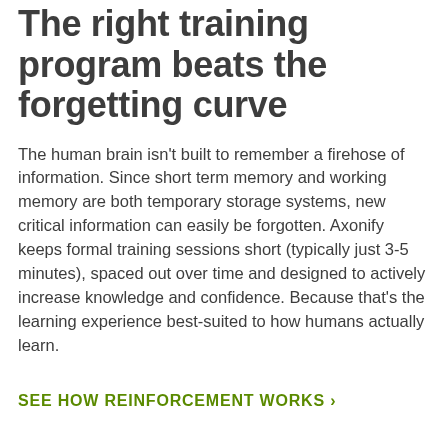The right training program beats the forgetting curve
The human brain isn't built to remember a firehose of information. Since short term memory and working memory are both temporary storage systems, new critical information can easily be forgotten. Axonify keeps formal training sessions short (typically just 3-5 minutes), spaced out over time and designed to actively increase knowledge and confidence. Because that's the learning experience best-suited to how humans actually learn.
SEE HOW REINFORCEMENT WORKS ›